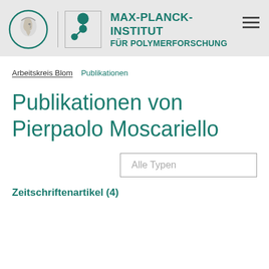[Figure (logo): Max-Planck-Institut für Polymerforschung logo with Minerva head coin and molecule diagram]
MAX-PLANCK-INSTITUT FÜR POLYMERFORSCHUNG
Arbeitskreis Blom   Publikationen
Publikationen von Pierpaolo Moscariello
Alle Typen
Zeitschriftenartikel (4)